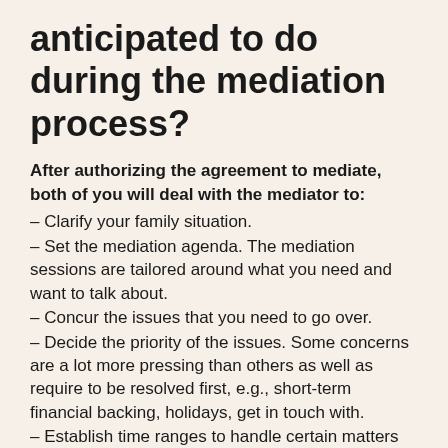anticipated to do during the mediation process?
After authorizing the agreement to mediate, both of you will deal with the mediator to:
– Clarify your family situation.
– Set the mediation agenda. The mediation sessions are tailored around what you need and want to talk about.
– Concur the issues that you need to go over.
– Decide the priority of the issues. Some concerns are a lot more pressing than others as well as require to be resolved first, e.g., short-term financial backing, holidays, get in touch with.
– Establish time ranges to handle certain matters e.g., for separation or divorce.
– Clear up the concerns: in some cases it is not particular what matters are really in dispute as well as combining them on paper before going into the